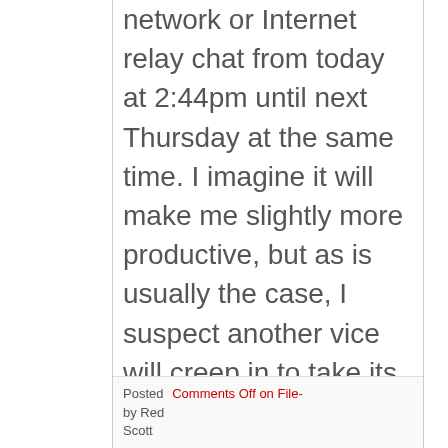network or Internet relay chat from today at 2:44pm until next Thursday at the same time. I imagine it will make me slightly more productive, but as is usually the case, I suspect another vice will creep in to take its place. Perhaps I'll update this thing more often…
Posted by Red Scott
Comments Off on File-